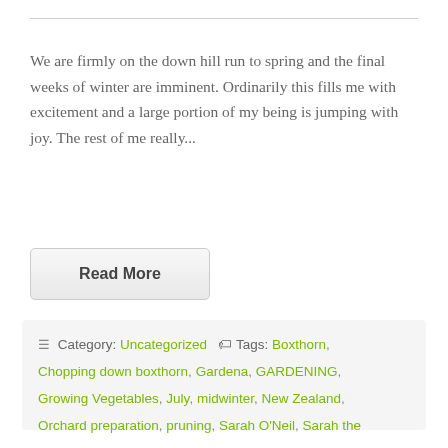We are firmly on the down hill run to spring and the final weeks of winter are imminent.  Ordinarily this fills me with excitement and a large portion of my being is jumping with joy.  The rest of me really...
Read More
☰ Category: Uncategorized  🏷 Tags: Boxthorn, Chopping down boxthorn, Gardena, GARDENING, Growing Vegetables, July, midwinter, New Zealand, Orchard preparation, pruning, Sarah O'Neil, Sarah the Gardener, sponsored, Tree and Shrub Lopper StarCut 160 plus